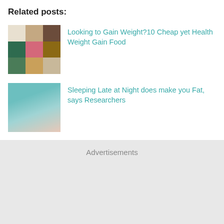Related posts:
[Figure (photo): Food collage thumbnail showing various weight-gain foods including nuts, eggs, chocolate, avocado, donuts, potato, oil, and other items arranged in a 3x3 grid]
Looking to Gain Weight?10 Cheap yet Health Weight Gain Food
[Figure (photo): Woman sleeping on a teal pillow, with hand near face, sleeping late at night]
Sleeping Late at Night does make you Fat, says Researchers
Advertisements